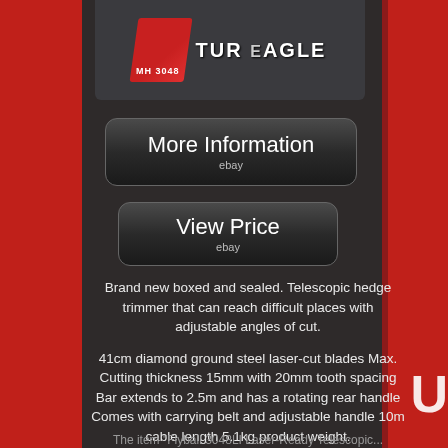[Figure (logo): TurboEagle / MH 3048 product logo on dark grey background]
More Information
ebay
View Price
ebay
Brand new boxed and sealed. Telescopic hedge trimmer that can reach difficult places with adjustable angles of cut.
41cm diamond ground steel laser-cut blades Max. Cutting thickness 15mm with 20mm tooth spacing Bar extends to 2.5m and has a rotating rear handle Comes with carrying belt and adjustable handle 10m cable length 5.1kg product weight.
The item "Flyball 3048LI Laser-Ready Telescopic...